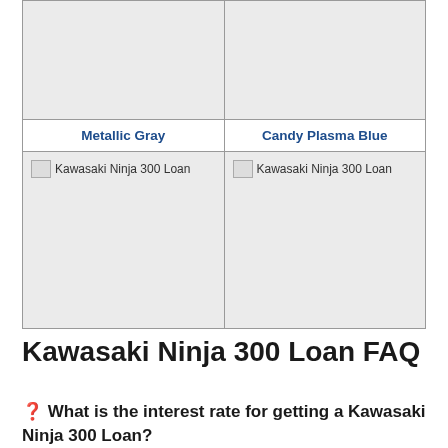| Metallic Gray | Candy Plasma Blue |
| --- | --- |
| [image: Kawasaki Ninja 300 Loan] | [image: Kawasaki Ninja 300 Loan] |
| [image: Kawasaki Ninja 300 Loan] | [image: Kawasaki Ninja 300 Loan] |
Kawasaki Ninja 300 Loan FAQ
❓ What is the interest rate for getting a Kawasaki Ninja 300 Loan?